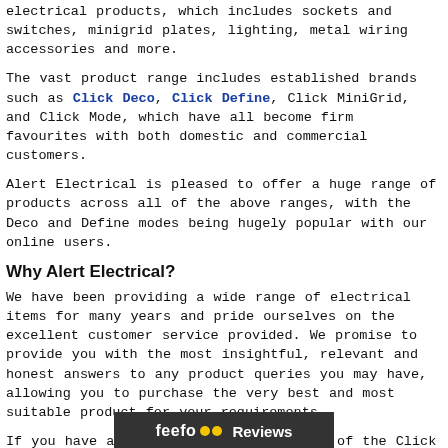electrical products, which includes sockets and switches, minigrid plates, lighting, metal wiring accessories and more.
The vast product range includes established brands such as Click Deco, Click Define, Click MiniGrid, and Click Mode, which have all become firm favourites with both domestic and commercial customers.
Alert Electrical is pleased to offer a huge range of products across all of the above ranges, with the Deco and Define modes being hugely popular with our online users.
Why Alert Electrical?
We have been providing a wide range of electrical items for many years and pride ourselves on the excellent customer service provided. We promise to provide you with the most insightful, relevant and honest answers to any product queries you may have, allowing you to purchase the very best and most suitable product for your requirements.
If you have any questions regarding any of the Click Scolmore switches or sockets, or any other products available to order on our website, please contact the Alert Electrical team today and we will be happy to help.
[Figure (logo): Feefo Reviews logo bar — dark background with feefo logo with two yellow dots and 'Reviews' text in white]